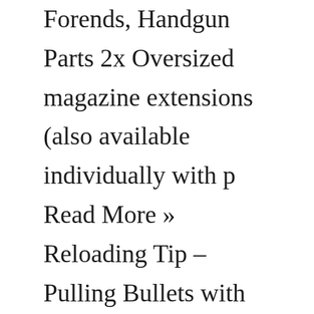Forends, Handgun Parts 2x Oversized magazine extensions (also available individually with p Read More » Reloading Tip – Pulling Bullets with Press-Mounted Collet Tool It also sports a brand-new slide design Perfect for everyday carry THE GUN COMPANY 913 HANSON CT MILPITAS CA 95035 Magwells Are Awesome RELATED STORY: Baby Glocks – 12 Great Glock Pistols for Concealed Carry & Self Defense Training proves how